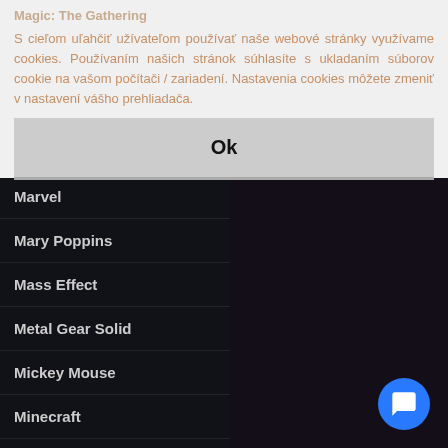Magic: The Gathering
S cieľom uľahčiť užívateľom používať naše webové stránky využívame cookies. Používaním našich stránok súhlasíte s ukladaním súborov cookie na vašom počítači / zariadení. Nastavenia cookies môžete zmeniť v nastavení vášho prehliadača.
Ok
Marvel
Mary Poppins
Mass Effect
Metal Gear Solid
Mickey Mouse
Minecraft
Moana
Moon Knight
Mortal Kombat